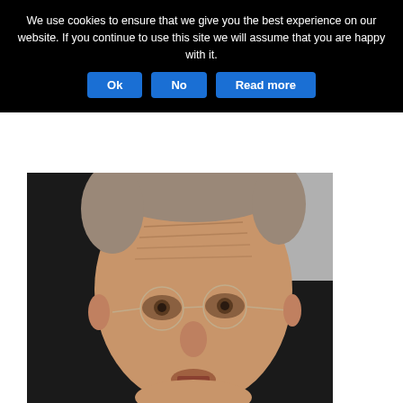We use cookies to ensure that we give you the best experience on our website. If you continue to use this site we will assume that you are happy with it.   Ok   No   Read more
[Figure (photo): Close-up portrait photo of an elderly man with grey hair, round wire-rimmed glasses, and a wrinkled forehead, looking upward with mouth slightly open, against a dark background.]